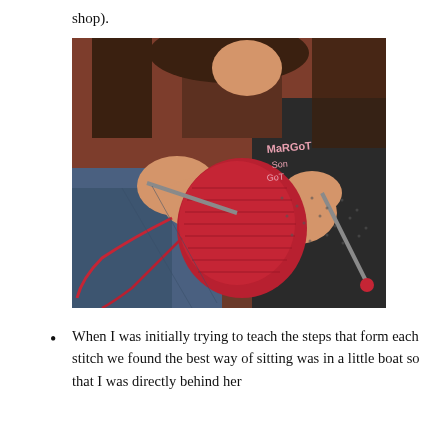shop).
[Figure (photo): A young girl with long dark hair knitting with red yarn and knitting needles, holding a partially completed red knitted piece. She is wearing a dark shirt with text 'MaRGoT Son GoT' and jeans.]
When I was initially trying to teach the steps that form each stitch we found the best way of sitting was in a little boat so that I was directly behind her